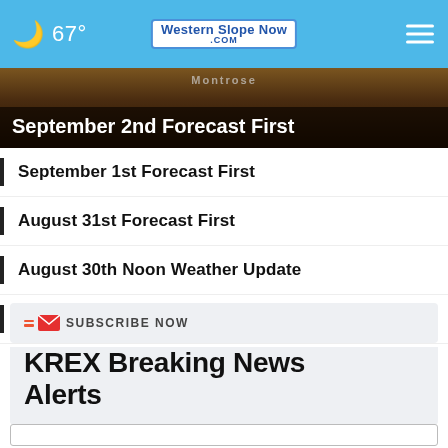67° Western Slope Now .COM
[Figure (screenshot): Featured news thumbnail with dark background and Montrose location visible]
September 2nd Forecast First
September 1st Forecast First
August 31st Forecast First
August 30th Noon Weather Update
August 30th Forecast First
SUBSCRIBE NOW
KREX Breaking News Alerts